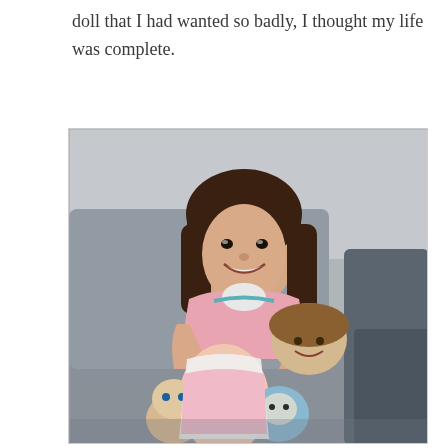doll that I had wanted so badly, I thought my life was complete.
[Figure (photo): A young girl with brown hair sitting on a couch, smiling broadly, and holding several dolls and stuffed animals including baby dolls and a Cabbage Patch Kid.]